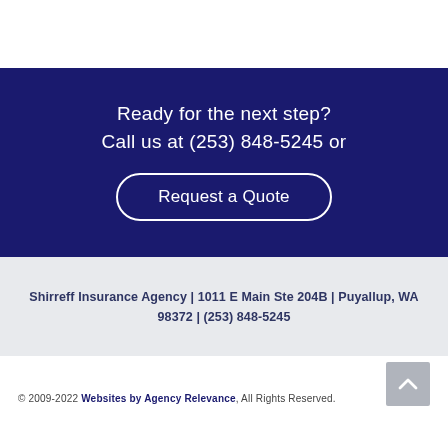Ready for the next step?
Call us at (253) 848-5245 or
Request a Quote
Shirreff Insurance Agency | 1011 E Main Ste 204B | Puyallup, WA 98372 | (253) 848-5245
© 2009-2022 Websites by Agency Relevance, All Rights Reserved.